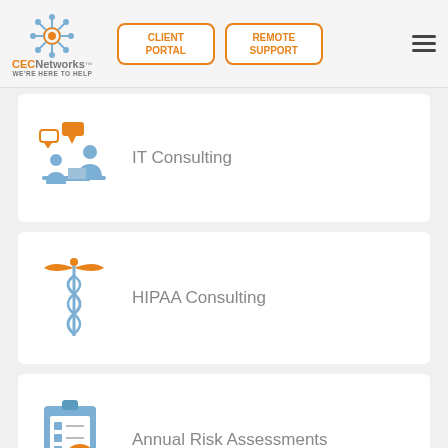CEC Networks - WE'RE HERE TO HELP | CLIENT PORTAL | REMOTE SUPPORT
[Figure (illustration): IT Consulting icon: two people at a desk with speech bubbles, in blue and orange]
IT Consulting
[Figure (illustration): HIPAA Consulting icon: caduceus medical symbol in orange and blue]
HIPAA Consulting
[Figure (illustration): Annual Risk Assessments icon: clipboard with checklist and orange checkmark badge]
Annual Risk Assessments